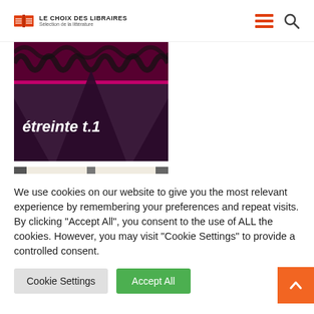LE CHOIX DES LIBRAIRES — Sélection de la littérature
[Figure (illustration): Book cover image for 'étreinte t.1' with dark purple background, pink and black lace pattern at top, title text 'étreinte t.1' in bold white.]
[Figure (illustration): Open book illustration with two pages showing horizontal lines representing text, with vertical dark spine in center.]
We use cookies on our website to give you the most relevant experience by remembering your preferences and repeat visits. By clicking "Accept All", you consent to the use of ALL the cookies. However, you may visit "Cookie Settings" to provide a controlled consent.
Cookie Settings | Accept All